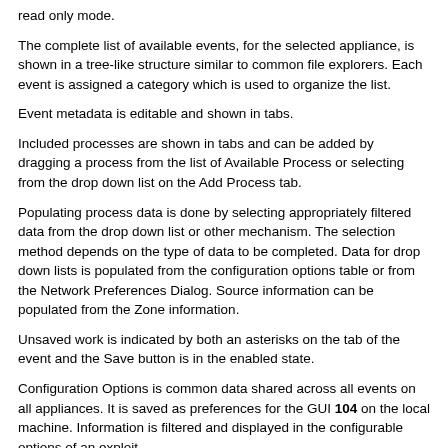read only mode.
The complete list of available events, for the selected appliance, is shown in a tree-like structure similar to common file explorers. Each event is assigned a category which is used to organize the list.
Event metadata is editable and shown in tabs.
Included processes are shown in tabs and can be added by dragging a process from the list of Available Process or selecting from the drop down list on the Add Process tab.
Populating process data is done by selecting appropriately filtered data from the drop down list or other mechanism. The selection method depends on the type of data to be completed. Data for drop down lists is populated from the configuration options table or from the Network Preferences Dialog. Source information can be populated from the Zone information.
Unsaved work is indicated by both an asterisks on the tab of the event and the Save button is in the enabled state.
Configuration Options is common data shared across all events on all appliances. It is saved as preferences for the GUI 104 on the local machine. Information is filtered and displayed in the configurable options of an exploit.
Event context menu will provide common functions such as: